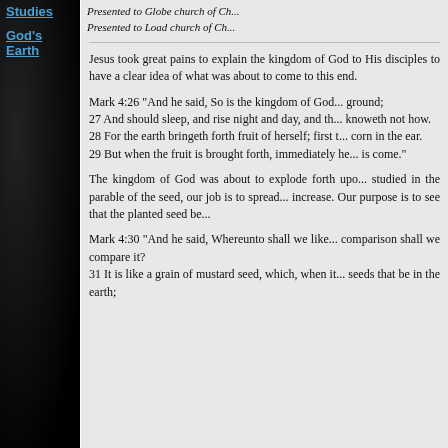Studies
God's Earth
Presented to Globe church of Ch...
Presented to Load church of Ch...
Jesus took great pains to explain the kingdom of God to His disciples to have a clear idea of what was about to come to this end.
Mark 4:26 "And he said, So is the kingdom of God... ground;
27 And should sleep, and rise night and day, and the... knoweth not how.
28 For the earth bringeth forth fruit of herself; first t... corn in the ear.
29 But when the fruit is brought forth, immediately he... is come."
The kingdom of God was about to explode forth upon... studied in the parable of the seed, our job is to spread... increase. Our purpose is to see that the planted seed be...
Mark 4:30 "And he said, Whereunto shall we like... comparison shall we compare it?
31 It is like a grain of mustard seed, which, when it... seeds that be in the earth;